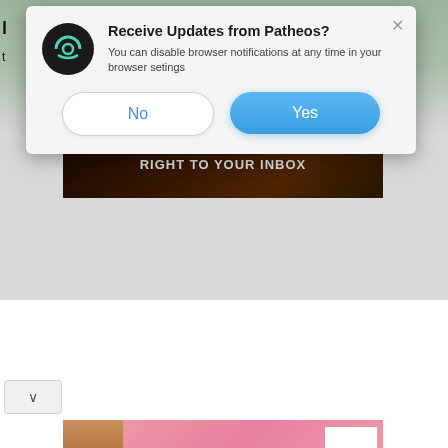[Figure (screenshot): Browser notification permission dialog from Patheos website. Dialog box with Patheos circular logo icon (dark background with white circular arc design), title 'Receive Updates from Patheos?', body text 'You can disable browser notifications at any time in your browser setings', and two buttons: 'No' (white/outlined) and 'Yes' (blue). Behind the dialog is a webpage showing a video series promotional banner ('GET YOUR NEW VIDEO SERIES RIGHT TO YOUR INBOX') and partially visible Victoria's Secret advertisement at bottom.]